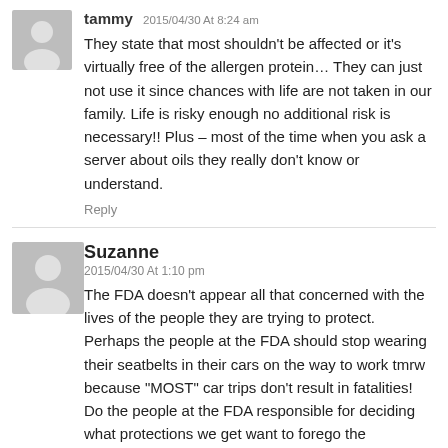tammy 2015/04/30 At 8:24 am
They state that most shouldn't be affected or it's virtually free of the allergen protein… They can just not use it since chances with life are not taken in our family. Life is risky enough no additional risk is necessary!! Plus – most of the time when you ask a server about oils they really don't know or understand.
Reply
Suzanne
2015/04/30 At 1:10 pm
The FDA doesn't appear all that concerned with the lives of the people they are trying to protect. Perhaps the people at the FDA should stop wearing their seatbelts in their cars on the way to work tmrw because "MOST" car trips don't result in fatalities! Do the people at the FDA responsible for deciding what protections we get want to forego the protections they receive to protect themselves in their daily life because